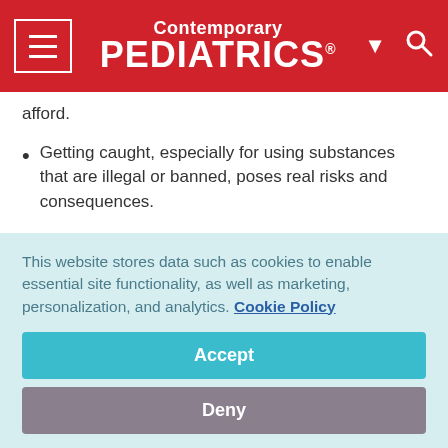Contemporary PEDIATRICS
afford.
Getting caught, especially for using substances that are illegal or banned, poses real risks and consequences.
Brainstorm with the young man about other safe and effective ways to achieve the same goals without being exposed to potentially negative consequences.
This website stores data such as cookies to enable essential site functionality, as well as marketing, personalization, and analytics. Cookie Policy
Accept
Deny